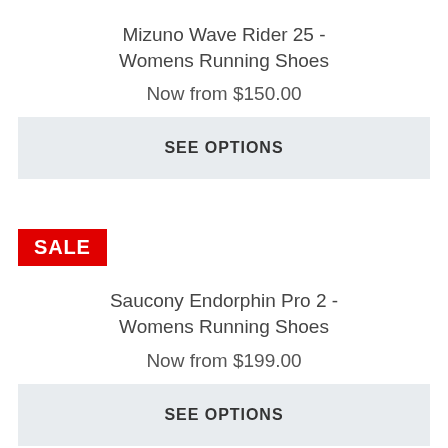Mizuno Wave Rider 25 - Womens Running Shoes
Now from $150.00
SEE OPTIONS
SALE
Saucony Endorphin Pro 2 - Womens Running Shoes
Now from $199.00
SEE OPTIONS